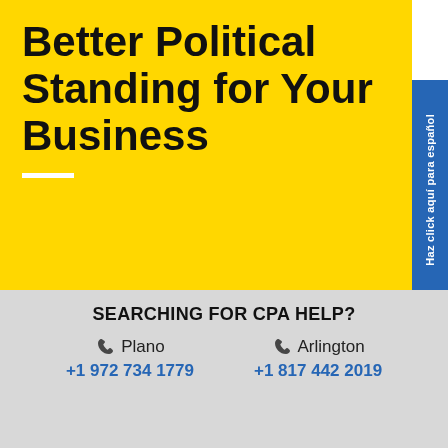Better Political Standing for Your Business
Haz click aquí para español
November 7, 2016
Posted by: Smith & Smith
Category: S Corp and Partnerships, Start-Up Businesses, Tax System
SEARCHING FOR CPA HELP?
Plano +1 972 734 1779
Arlington +1 817 442 2019